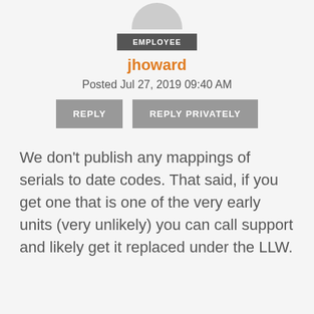[Figure (other): User avatar image (partially visible at top)]
EMPLOYEE
jhoward
Posted Jul 27, 2019 09:40 AM
REPLY
REPLY PRIVATELY
We don't publish any mappings of serials to date codes. That said, if you get one that is one of the very early units (very unlikely) you can call support and likely get it replaced under the LLW.